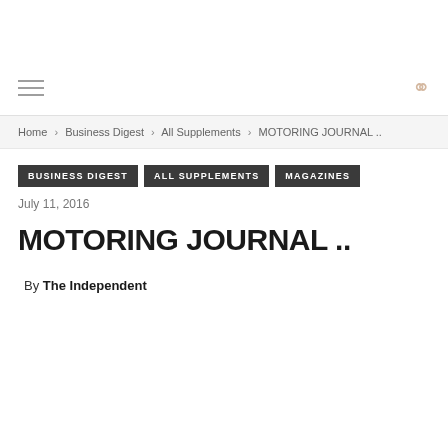Home › Business Digest › All Supplements › MOTORING JOURNAL ..
BUSINESS DIGEST   ALL SUPPLEMENTS   MAGAZINES
July 11, 2016
MOTORING JOURNAL ..
By The Independent